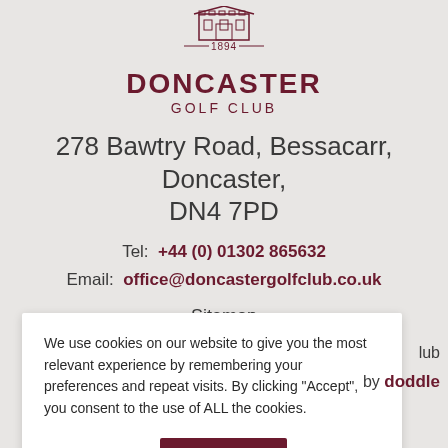[Figure (logo): Doncaster Golf Club logo with building illustration and 1894 founding year]
DONCASTER GOLF CLUB
278 Bawtry Road, Bessacarr, Doncaster, DN4 7PD
Tel: +44 (0) 01302 865632
Email: office@doncastergolfclub.co.uk
Sitemap
We use cookies on our website to give you the most relevant experience by remembering your preferences and repeat visits. By clicking "Accept", you consent to the use of ALL the cookies.
Cookie settings | ACCEPT